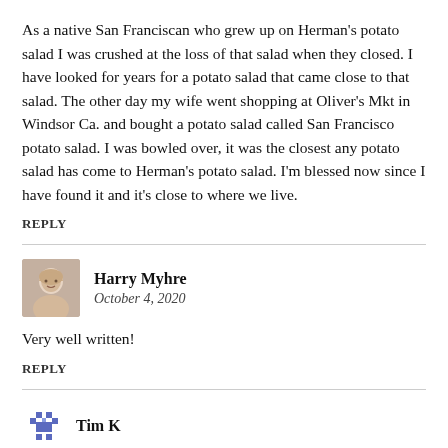As a native San Franciscan who grew up on Herman's potato salad I was crushed at the loss of that salad when they closed. I have looked for years for a potato salad that came close to that salad. The other day my wife went shopping at Oliver's Mkt in Windsor Ca. and bought a potato salad called San Francisco potato salad. I was bowled over, it was the closest any potato salad has come to Herman's potato salad. I'm blessed now since I have found it and it's close to where we live.
Reply
[Figure (photo): Avatar photo of Harry Myhre, a smiling person with light hair]
Harry Myhre
October 4, 2020
Very well written!
Reply
[Figure (logo): Small decorative icon/avatar for Tim K, appears to be a blue pixelated star-like graphic]
Tim K